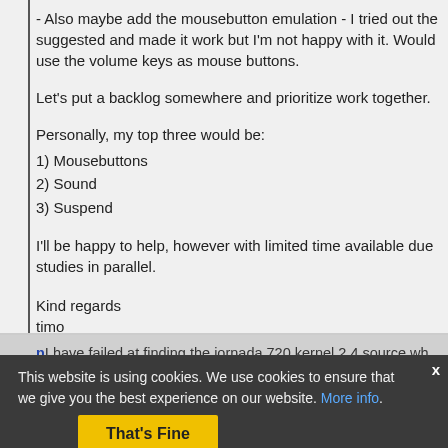- Also maybe add the mousebutton emulation - I tried out the suggested and made it work but I'm not happy with it. Would use the volume keys as mouse buttons.
Let's put a backlog somewhere and prioritize work together.
Personally, my top three would be:
1) Mousebuttons
2) Sound
3) Suspend
I'll be happy to help, however with limited time available due studies in parallel.
Kind regards
timo
This website is using cookies. We use cookies to ensure that we give you the best experience on our website. More info. That's Fine